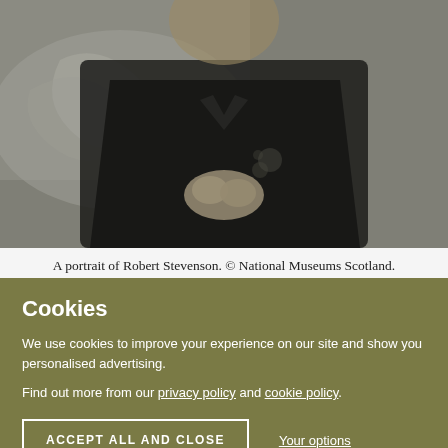[Figure (photo): Black and white portrait photograph of Robert Stevenson, a man in dark Victorian-era clothing seated with hands clasped, with a dramatic stormy seascape in the background.]
A portrait of Robert Stevenson. © National Museums Scotland.
Cookies
We use cookies to improve your experience on our site and show you personalised advertising.
Find out more from our privacy policy and cookie policy.
ACCEPT ALL AND CLOSE
Your options